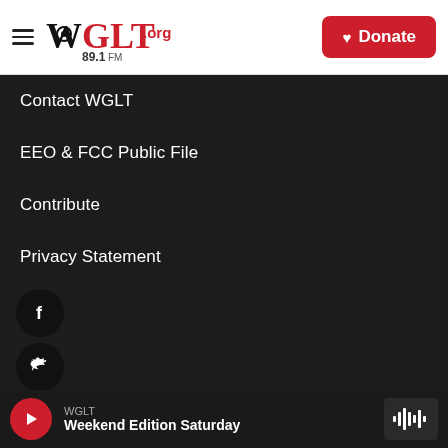[Figure (logo): WGLT.org 89.1FM radio station logo with hamburger menu and Donate button]
Contact WGLT
EEO & FCC Public File
Contribute
Privacy Statement
[Figure (other): Social media icons: Facebook, Twitter, Instagram, YouTube — black circles with white icons]
WGLT — Weekend Edition Saturday (audio player bar with play button and waveform)